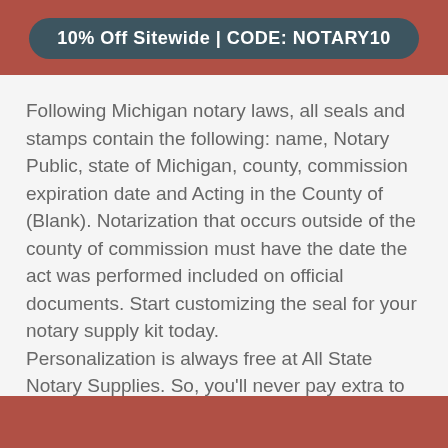10% Off Sitewide | CODE: NOTARY10
Following Michigan notary laws, all seals and stamps contain the following: name, Notary Public, state of Michigan, county, commission expiration date and Acting in the County of (Blank). Notarization that occurs outside of the county of commission must have the date the act was performed included on official documents. Start customizing the seal for your notary supply kit today.
Personalization is always free at All State Notary Supplies. So, you'll never pay extra to add your name to any of our products.